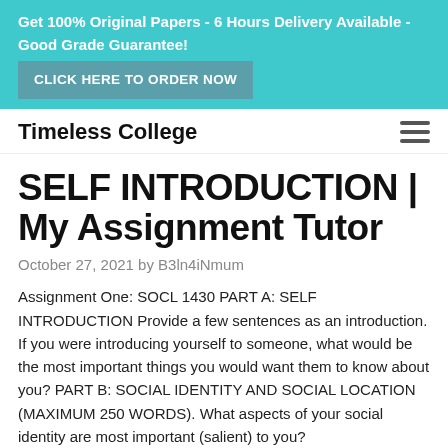Get 100% Original Papers - 6 Hours Delivery Available - Good Grade Guarantee! CLICK HERE TO ORDER NOW
Timeless College
SELF INTRODUCTION | My Assignment Tutor
October 27, 2021 by B3ln4iNmum
Assignment One: SOCL 1430 PART A: SELF INTRODUCTION Provide a few sentences as an introduction. If you were introducing yourself to someone, what would be the most important things you would want them to know about you? PART B: SOCIAL IDENTITY AND SOCIAL LOCATION (MAXIMUM 250 WORDS). What aspects of your social identity are most important (salient) to you?